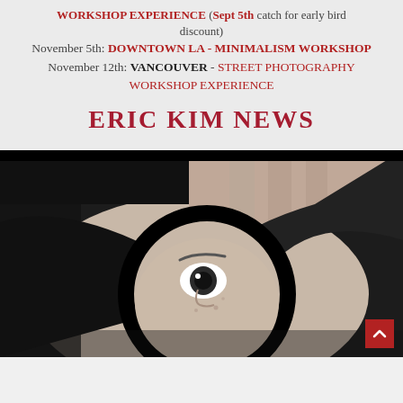WORKSHOP EXPERIENCE (Sept 5th catch for early bird discount)
November 5th: DOWNTOWN LA - MINIMALISM WORKSHOP
November 12th: VANCOUVER - STREET PHOTOGRAPHY WORKSHOP EXPERIENCE
ERIC KIM NEWS
[Figure (photo): Black and white close-up portrait of a person holding their hand up near their face, peering through the gap between fingers, one eye prominently visible, dramatic contrast]